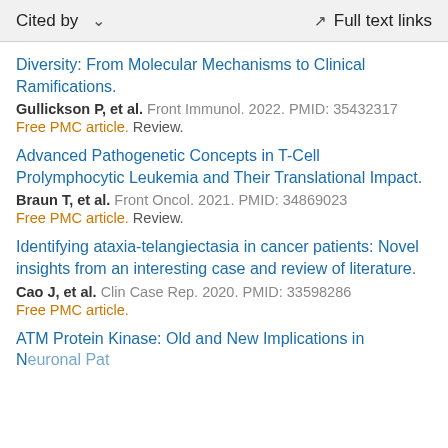Cited by    Full text links
Diversity: From Molecular Mechanisms to Clinical Ramifications.
Gullickson P, et al. Front Immunol. 2022. PMID: 35432317
Free PMC article. Review.
Advanced Pathogenetic Concepts in T-Cell Prolymphocytic Leukemia and Their Translational Impact.
Braun T, et al. Front Oncol. 2021. PMID: 34869023
Free PMC article. Review.
Identifying ataxia-telangiectasia in cancer patients: Novel insights from an interesting case and review of literature.
Cao J, et al. Clin Case Rep. 2020. PMID: 33598286
Free PMC article.
ATM Protein Kinase: Old and New Implications in Neuronal Pathogenesis and Brain Circuitry